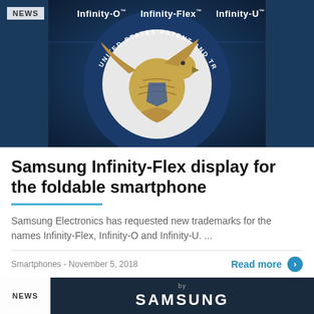[Figure (photo): Dark blue background with US Patent and Trademark Office seal/logo in center. Overlay text shows 'Infinity-O™', 'Infinity-Flex™', 'Infinity-U™' across the top. A 'NEWS' badge is in the top-left corner.]
Samsung Infinity-Flex display for the foldable smartphone
Samsung Electronics has requested new trademarks for the names Infinity-Flex, Infinity-O and Infinity-U. ...
Smartphones - November 5, 2018
Read more
[Figure (photo): Partial view of another news card at the bottom showing a dark background with 'by SAMSUNG' text (partial, cropped). NEWS badge on the left.]